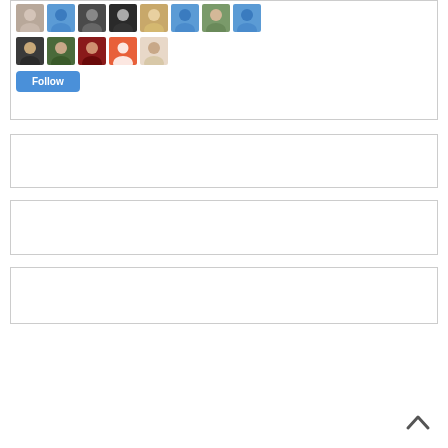[Figure (screenshot): Social media followers panel showing two rows of avatar thumbnails (photos and placeholder icons), a Follow button, and three empty bordered content panels below. A back-to-top chevron arrow is at the bottom right.]